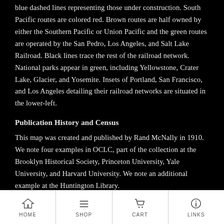blue dashed lines representing those under construction. South Pacific routes are colored red. Brown routes are half owned by either the Southern Pacific or Union Pacific and the green routes are operated by the San Pedro, Los Angeles, and Salt Lake Railroad. Black lines trace the rest of the railroad network. National parks appear in green, including Yellowstone, Crater Lake, Glacier, and Yosemite. Insets of Portland, San Francisco, and Los Angeles detailing their railroad networks are situated in the lower-left.
Publication History and Census
This map was created and published by Rand McNally in 1910. We note four examples in OCLC, part of the collection at the Brooklyn Historical Society, Princeton University, Yale University, and Harvard University. We note an additional example at the Huntington Library.
HOME  SHOP  CART  LINKS